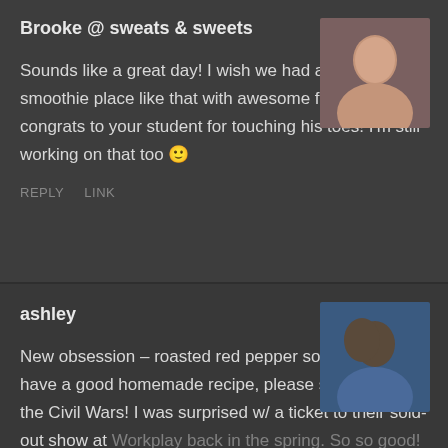Brooke @ sweats & sweets
Sounds like a great day! I wish we had a cool smoothie place like that with awesome flavors. And congrats to your student for touching his toes! I'm still working on that too 🙂
REPLY    LINK
ashley
New obsession – roasted red pepper soup! If you have a good homemade recipe, please share! Love the Civil Wars! I was surprised w/ a ticket to their sold-out show at Workplay back in the spring. So so good! I took a million pictures of John Paul 🎸 Happy Friday!